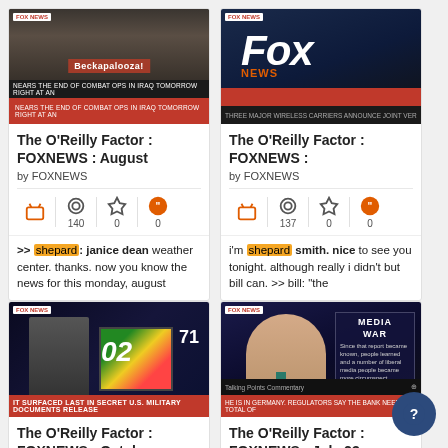[Figure (screenshot): TV thumbnail screenshot of Fox News Beckapalooza broadcast with crowd, red ticker bar at bottom]
The O'Reilly Factor : FOXNEWS : August
by FOXNEWS
140 views, 0 favorites, 0 quotes
>> shepard: janice dean weather center. thanks. now you know the news for this monday, august
[Figure (screenshot): TV thumbnail screenshot of Fox News logo on dark blue background]
The O'Reilly Factor : FOXNEWS :
by FOXNEWS
137 views, 0 favorites, 0 quotes
i'm shepard smith. nice to see you tonight. although really i didn't but bill can. >> bill: "the
[Figure (screenshot): TV thumbnail screenshot of Fox News studio with anchor and colorful screen showing number 02]
The O'Reilly Factor : FOXNEWS : October
by FOXNEWS
[Figure (screenshot): TV thumbnail screenshot of Fox News anchor with Media War graphic overlay]
The O'Reilly Factor : FOXNEWS : July 23,
by FOXNEWS